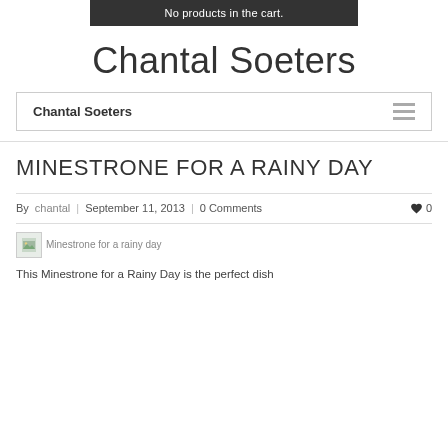No products in the cart.
Chantal Soeters
Chantal Soeters
MINESTRONE FOR A RAINY DAY
By chantal | September 11, 2013 | 0 Comments ♥ 0
[Figure (photo): Minestrone for a rainy day - thumbnail image]
This Minestrone for a Rainy Day is the perfect dish